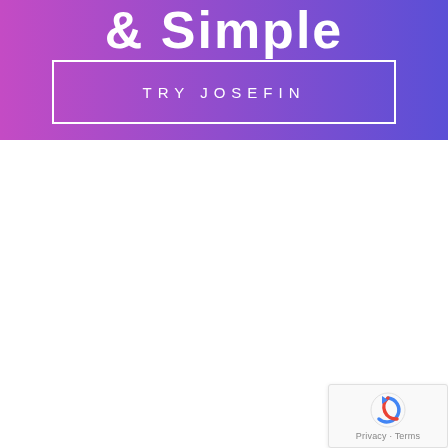[Figure (illustration): Gradient banner (purple to blue) with partial large white bold text '& Simple' at top and a white-bordered button labeled 'TRY JOSEFIN' centered below]
& Simple
TRY JOSEFIN
[Figure (logo): Google reCAPTCHA widget in bottom-right corner showing the reCAPTCHA spinning arrow logo and 'Privacy · Terms' text]